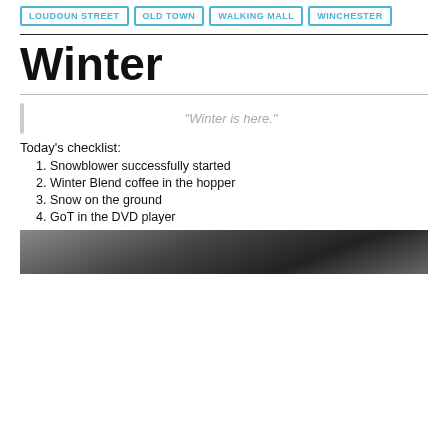LOUDOUN STREET
OLD TOWN
WALKING MALL
WINCHESTER
Winter
“Winter is here.”
Today’s checklist:
Snowblower successfully started
Winter Blend coffee in the hopper
Snow on the ground
GoT in the DVD player
[Figure (photo): Black and white photo strip at bottom of page]